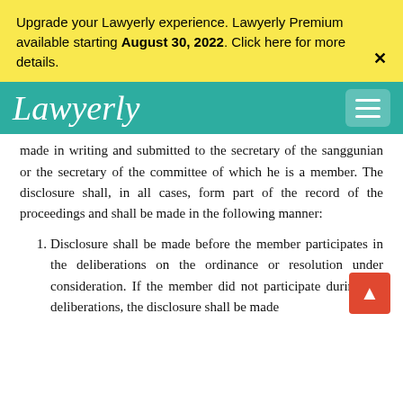Upgrade your Lawyerly experience. Lawyerly Premium available starting August 30, 2022. Click here for more details.
Lawyerly
made in writing and submitted to the secretary of the sanggunian or the secretary of the committee of which he is a member. The disclosure shall, in all cases, form part of the record of the proceedings and shall be made in the following manner:
Disclosure shall be made before the member participates in the deliberations on the ordinance or resolution under consideration. If the member did not participate during the deliberations, the disclosure shall be made...